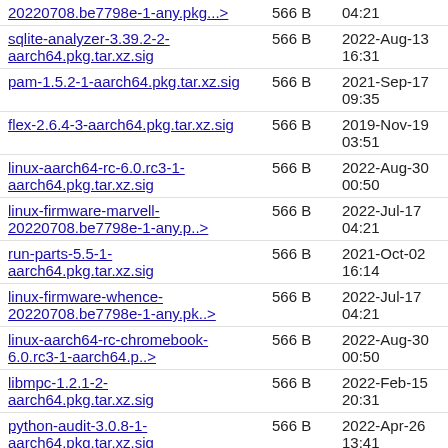20220708.be7798e-1-any.pkg...> | 566 B | 04:21
sqlite-analyzer-3.39.2-2-aarch64.pkg.tar.xz.sig | 566 B | 2022-Aug-13 16:31
pam-1.5.2-1-aarch64.pkg.tar.xz.sig | 566 B | 2021-Sep-17 09:35
flex-2.6.4-3-aarch64.pkg.tar.xz.sig | 566 B | 2019-Nov-19 03:51
linux-aarch64-rc-6.0.rc3-1-aarch64.pkg.tar.xz.sig | 566 B | 2022-Aug-30 00:50
linux-firmware-marvell-20220708.be7798e-1-any.p..> | 566 B | 2022-Jul-17 04:21
run-parts-5.5-1-aarch64.pkg.tar.xz.sig | 566 B | 2021-Oct-02 16:14
linux-firmware-whence-20220708.be7798e-1-any.pk..> | 566 B | 2022-Jul-17 04:21
linux-aarch64-rc-chromebook-6.0.rc3-1-aarch64.p..> | 566 B | 2022-Aug-30 00:50
libmpc-1.2.1-2-aarch64.pkg.tar.xz.sig | 566 B | 2022-Feb-15 20:31
python-audit-3.0.8-1-aarch64.pkg.tar.xz.sig | 566 B | 2022-Apr-26 13:41
texinfo-6.8-2-aarch64.pkg.tar.xz.sig | 566 B | 2021-Aug-07 21:34